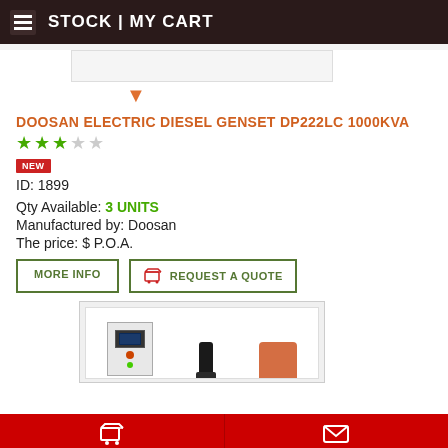STOCK | MY CART
[Figure (photo): Top product image placeholder with downward orange arrow]
DOOSAN ELECTRIC DIESEL GENSET DP222LC 1000KVA
★★★☆☆ (3 out of 5 stars)
NEW
ID: 1899
Qty Available: 3 UNITS
Manufactured by: Doosan
The price: $ P.O.A.
MORE INFO | REQUEST A QUOTE
[Figure (photo): Second product listing image showing genset components including a control panel and exhaust pipe]